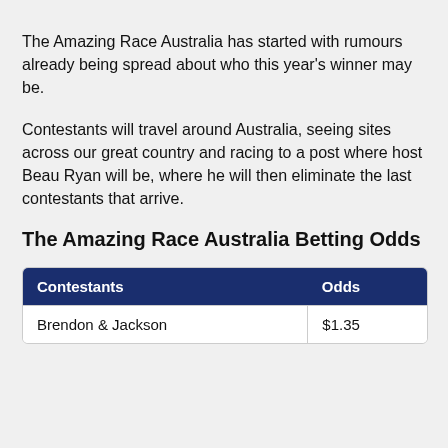The Amazing Race Australia has started with rumours already being spread about who this year's winner may be.
Contestants will travel around Australia, seeing sites across our great country and racing to a post where host Beau Ryan will be, where he will then eliminate the last contestants that arrive.
The Amazing Race Australia Betting Odds
| Contestants | Odds |
| --- | --- |
| Brendon & Jackson | $1.35 |